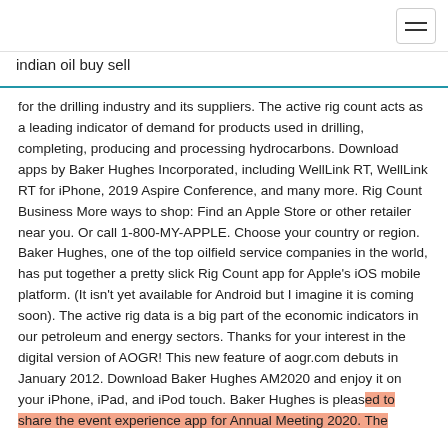indian oil buy sell
for the drilling industry and its suppliers. The active rig count acts as a leading indicator of demand for products used in drilling, completing, producing and processing hydrocarbons. Download apps by Baker Hughes Incorporated, including WellLink RT, WellLink RT for iPhone, 2019 Aspire Conference, and many more. Rig Count Business More ways to shop: Find an Apple Store or other retailer near you. Or call 1-800-MY-APPLE. Choose your country or region. Baker Hughes, one of the top oilfield service companies in the world, has put together a pretty slick Rig Count app for Apple's iOS mobile platform. (It isn't yet available for Android but I imagine it is coming soon). The active rig data is a big part of the economic indicators in our petroleum and energy sectors. Thanks for your interest in the digital version of AOGR! This new feature of aogr.com debuts in January 2012. Download Baker Hughes AM2020 and enjoy it on your iPhone, iPad, and iPod touch. Baker Hughes is pleased to share the event experience app for Annual Meeting 2020. The